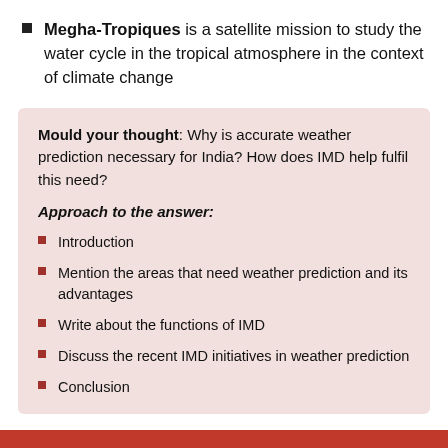Megha-Tropiques is a satellite mission to study the water cycle in the tropical atmosphere in the context of climate change
Mould your thought: Why is accurate weather prediction necessary for India? How does IMD help fulfil this need?
Approach to the answer:
Introduction
Mention the areas that need weather prediction and its advantages
Write about the functions of IMD
Discuss the recent IMD initiatives in weather prediction
Conclusion